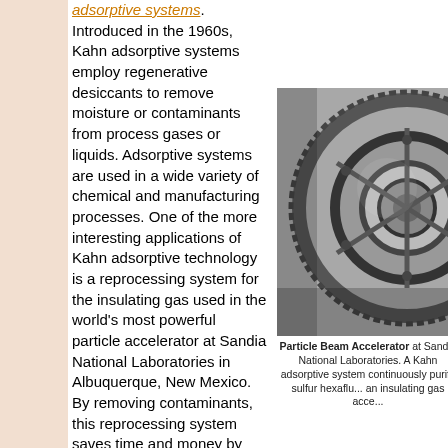adsorptive systems. Introduced in the 1960s, Kahn adsorptive systems employ regenerative desiccants to remove moisture or contaminants from process gases or liquids. Adsorptive systems are used in a wide variety of chemical and manufacturing processes. One of the more interesting applications of Kahn adsorptive technology is a reprocessing system for the insulating gas used in the world's most powerful particle accelerator at Sandia National Laboratories in Albuquerque, New Mexico. By removing contaminants, this reprocessing system saves time and money by enabling Sandia to use the same sulfur hexafluoride gas over
[Figure (photo): Black and white photograph of a Particle Beam Accelerator at Sandia National Laboratories, showing a large circular mechanical component with gear-like teeth and internal machinery.]
Particle Beam Accelerator at Sandia National Laboratories. A Kahn adsorptive system continuously purify sulfur hexafluoride gas, an insulating gas acce...